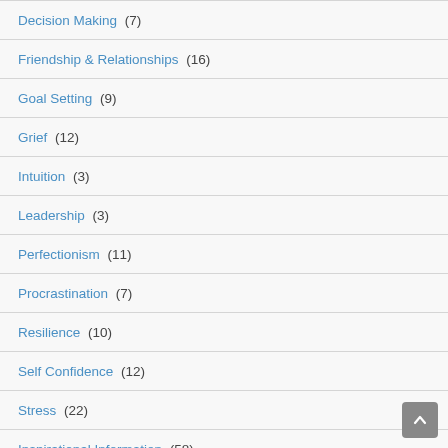Decision Making (7)
Friendship & Relationships (16)
Goal Setting (9)
Grief (12)
Intuition (3)
Leadership (3)
Perfectionism (11)
Procrastination (7)
Resilience (10)
Self Confidence (12)
Stress (22)
Inspirational Information (58)